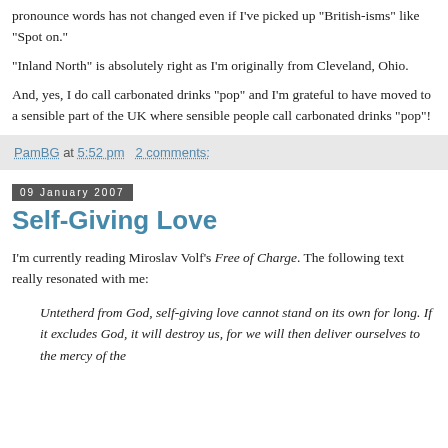pronounce words has not changed even if I've picked up "British-isms" like "Spot on."
"Inland North" is absolutely right as I'm originally from Cleveland, Ohio.
And, yes, I do call carbonated drinks "pop" and I'm grateful to have moved to a sensible part of the UK where sensible people call carbonated drinks "pop"!
PamBG at 5:52 pm   2 comments:
09 January 2007
Self-Giving Love
I'm currently reading Miroslav Volf's Free of Charge. The following text really resonated with me:
Untetherd from God, self-giving love cannot stand on its own for long. If it excludes God, it will destroy us, for we will then deliver ourselves to the mercy of the